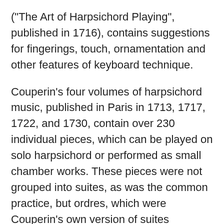("The Art of Harpsichord Playing", published in 1716), contains suggestions for fingerings, touch, ornamentation and other features of keyboard technique.
Couperin's four volumes of harpsichord music, published in Paris in 1713, 1717, 1722, and 1730, contain over 230 individual pieces, which can be played on solo harpsichord or performed as small chamber works. These pieces were not grouped into suites, as was the common practice, but ordres, which were Couperin's own version of suites containing traditional dances as well as descriptive pieces. The first and last pieces in an ordre were of the same tonality, but the middle pieces could be in other closely-related tonalities. These volumes were loved by J.S. Bach and, much later, Richard Strauss, as well as Maurice Ravel who memorialized their composer